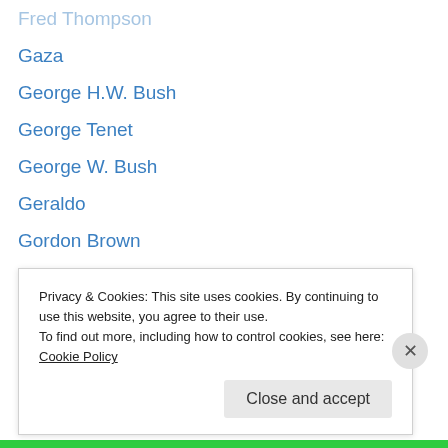Fred Thompson
Gaza
George H.W. Bush
George Tenet
George W. Bush
Geraldo
Gordon Brown
Hamas
HBO
Hillary Clinton
Hull
ice cream
Iowa Caucuses
Iran
Privacy & Cookies: This site uses cookies. By continuing to use this website, you agree to their use.
To find out more, including how to control cookies, see here: Cookie Policy
Close and accept